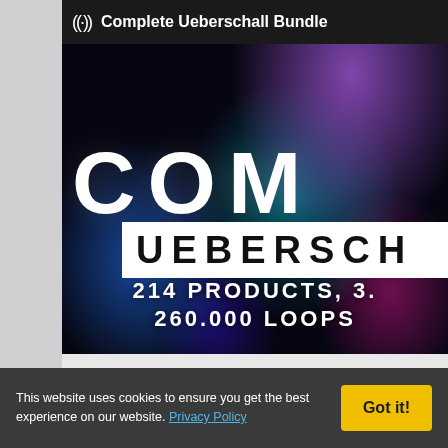((·)) Complete Ueberschall Bundle
[Figure (illustration): Dark abstract background with colorful powder explosion in purple, teal, and magenta. Large white text reads 'COM' and below that 'UEBERSCH' on a white bar. Bottom text reads '214 PRODUCTS, 3. | 260.000 LOOPS']
This website uses cookies to ensure you get the best experience on our website. Privacy Policy
Got it!